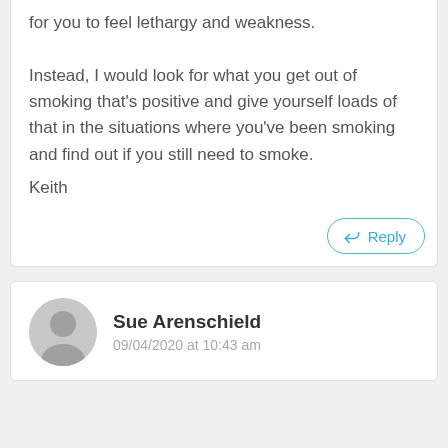for you to feel lethargy and weakness. Instead, I would look for what you get out of smoking that's positive and give yourself loads of that in the situations where you've been smoking and find out if you still need to smoke.
Keith
Reply
Sue Arenschield
09/04/2020 at 10:43 am